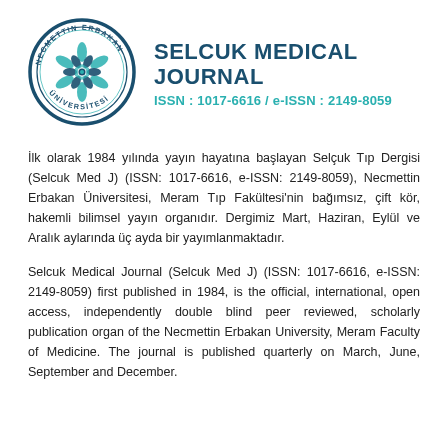[Figure (logo): Necmettin Erbakan University circular logo with ornamental floral pattern inside, text around the border reading NECMETTIN ERBAKAN UNIVERSITESI]
SELCUK MEDICAL JOURNAL
ISSN : 1017-6616 / e-ISSN : 2149-8059
İlk olarak 1984 yılında yayın hayatına başlayan Selçuk Tıp Dergisi (Selcuk Med J) (ISSN: 1017-6616, e-ISSN: 2149-8059), Necmettin Erbakan Üniversitesi, Meram Tıp Fakültesi'nin bağımsız, çift kör, hakemli bilimsel yayın organıdır. Dergimiz Mart, Haziran, Eylül ve Aralık aylarında üç ayda bir yayımlanmaktadır.
Selcuk Medical Journal (Selcuk Med J) (ISSN: 1017-6616, e-ISSN: 2149-8059) first published in 1984, is the official, international, open access, independently double blind peer reviewed, scholarly publication organ of the Necmettin Erbakan University, Meram Faculty of Medicine. The journal is published quarterly on March, June, September and December.